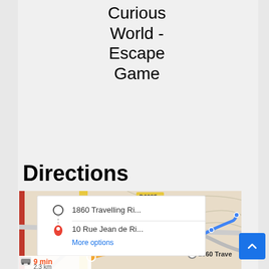Curious World - Escape Game
Directions
[Figure (screenshot): Google Maps screenshot showing directions from 1860 Travelling Ri... to 10 Rue Jean de Ri... with 'More options' link. The map shows a route with 9 min / 2.3 km travel time. Route marked in blue/orange on street map with Rte Napoleon visible.]